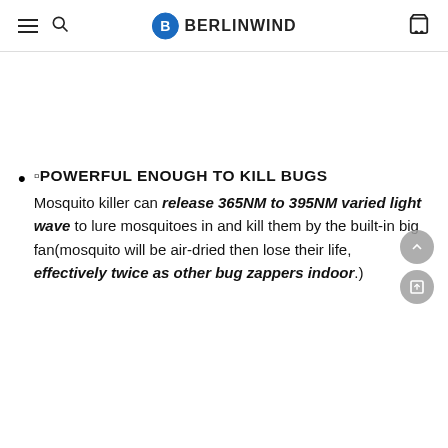BERLINWIND (logo with hamburger menu, search, and cart icons)
🔴POWERFUL ENOUGH TO KILL BUGS — Mosquito killer can release 365NM to 395NM varied light wave to lure mosquitoes in and kill them by the built-in big fan(mosquito will be air-dried then lose their life, effectively twice as other bug zappers indoor.)